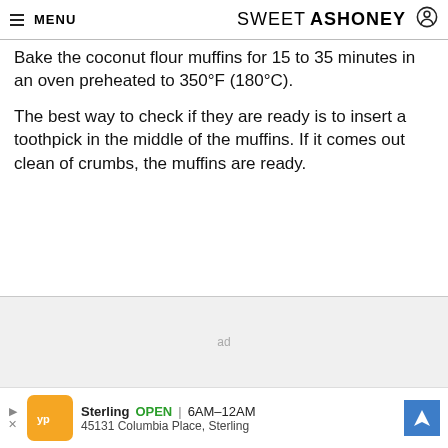≡ MENU  SWEETASHONEY
Bake the coconut flour muffins for 15 to 35 minutes in an oven preheated to 350°F (180°C).
The best way to check if they are ready is to insert a toothpick in the middle of the muffins. If it comes out clean of crumbs, the muffins are ready.
[Figure (other): Advertisement placeholder area with 'ad' label in light gray background]
[Figure (other): Bottom ad banner for Sterling restaurant: OPEN 6AM–12AM, 45131 Columbia Place, Sterling, with orange logo and blue navigation arrow icon]